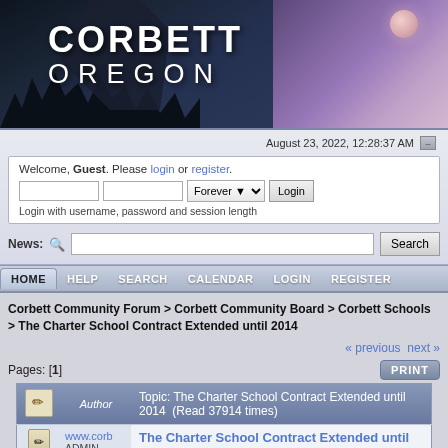[Figure (illustration): Corbett Oregon website header banner with dark cliff/forest landscape on left and purple/pink twilight sky with moon on right. White bold text reads CORBETT OREGON.]
August 23, 2022, 12:28:37 AM
Welcome, Guest. Please login or register.
Login with username, password and session length
News:
HOME  HELP  SEARCH  CALENDAR  LOGIN  REGISTER
Corbett Community Forum > Corbett Community Board > Corbett Schools > The Charter School Contract Extended until 2014
« previous next »
Pages: [1]
PRINT
| (icon) | Author | Topic: The Charter School Contract Extended until 2014  (Read 37914 times) |
| --- | --- | --- |
| www.corb
ADMIN | (icon) | The Charter School Contract Extended until 2014 |
Topic: The Charter School Contract Extended until 2014  (Read 37914 times)
www.corb
ADMIN
The Charter School Contract Extended until 2014